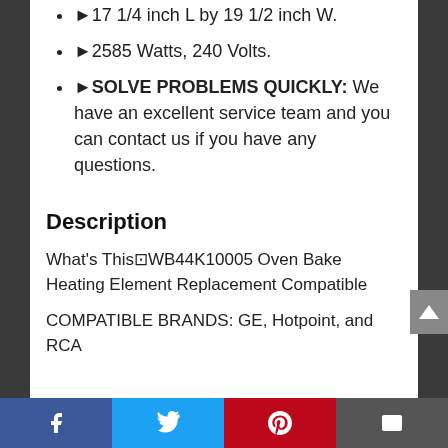►17 1/4 inch L by 19 1/2 inch W.
►2585 Watts, 240 Volts.
►SOLVE PROBLEMS QUICKLY: We have an excellent service team and you can contact us if you have any questions.
Description
What's This⊡WB44K10005 Oven Bake Heating Element Replacement Compatible
COMPATIBLE BRANDS: GE, Hotpoint, and RCA